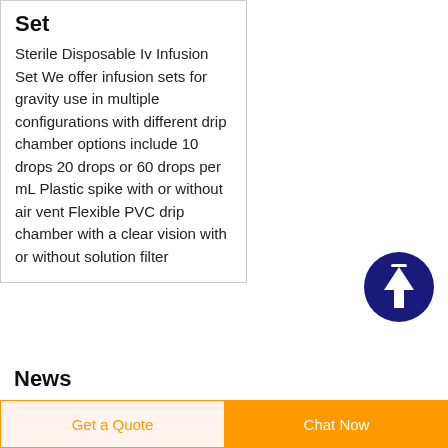Set
Sterile Disposable Iv Infusion Set We offer infusion sets for gravity use in multiple configurations with different drip chamber options include 10 drops 20 drops or 60 drops per mL Plastic spike with or without air vent Flexible PVC drip chamber with a clear vision with or without solution filter
[Figure (illustration): Dark blue circular button with white upward arrow icon, used as a scroll-to-top button]
News
amber infusion set price in El Salvador
Get a Quote | Chat Now